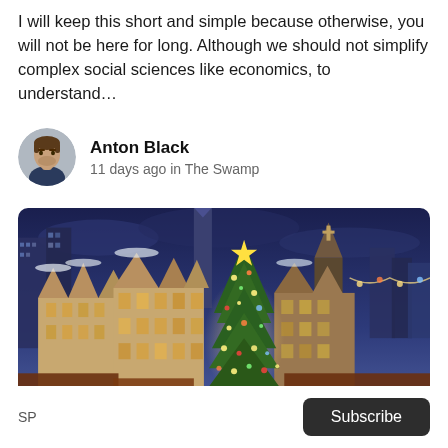I will keep this short and simple because otherwise, you will not be here for long. Although we should not simplify complex social sciences like economics, to understand...
Anton Black
11 days ago in The Swamp
[Figure (photo): Aerial/elevated view of a European Christmas market at dusk with a large illuminated Christmas tree in the center, historic stepped-gable buildings, a church tower, and modern skyscrapers in the background under a blue twilight sky.]
SP  Subscribe